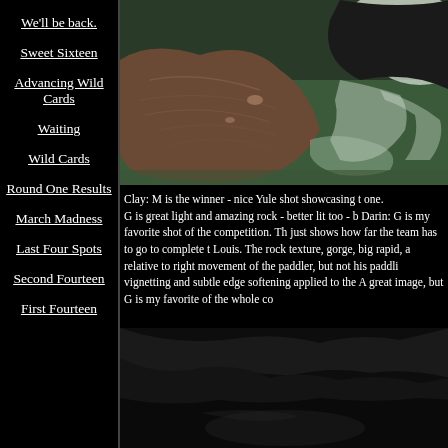We'll be back.
Sweet Sixteen
Advancing Wild Cards
Waiting
Wild Cards
Round One Results
March Madness
Last Four Spots
Second Fourteen
First Fourteen
[Figure (photo): Close-up photo of a large textured rock in a rushing whitewater river with white foam and green water]
Clay: M is the winner - nice Yule shot showcasing t one.
G is great light and amazing rock - better lit too - b Darin: G is my favorite shot of the competition. Th just shows how far the team has to go to complete t Louis. The rock texture, gorge, big rapid, a relative to right movement of the paddler, but not his paddli vignetting and subtle edge softening applied to the A great image, but G is my favorite of the whole co
[Figure (photo): Dark photo of a river gorge with rocks, partially visible at bottom of page]